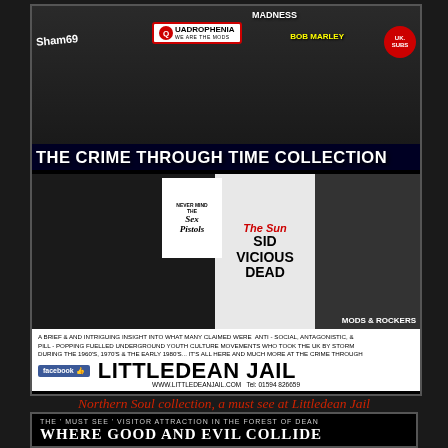[Figure (photo): Advertisement collage for The Crime Through Time Collection at Littledean Jail. Features Sham 69, Quadrophenia (We Are The Mods), Madness, Bob Marley, UK Subs logos, black and white photos of Mods, Sex Pistols 'Never Mind' album, The Sun newspaper headline 'SID VICIOUS DEAD', and Mods & Rockers imagery. Text reads: THE CRIME THROUGH TIME COLLECTION. A BRIEF & AND INTRIGUING INSIGHT INTO WHAT MANY CLAIMED WERE ANTI-SOCIAL, ANTAGONISTIC, & PILL-POPPING FUELLED UNDERGROUND YOUTH CULTURE MOVEMENTS WHO TOOK THE UK BY STORM DURING THE 1960'S, 1970'S & THE EARLY 1980'S... IT'S ALL HERE AND MUCH MORE AT THE CRIME THROUGH TIME COLLECTION, LITTLEDEAN JAIL, FOREST OF DEAN, GLOUCESTERSHIRE, UK. Facebook like button. LITTLEDEAN JAIL. WWW.LITTLEDEANJAIL.COM Tel: 01594 826659]
Northern Soul collection, a must see at Littledean Jail
[Figure (photo): Black background advertisement reading: THE 'MUST SEE' VISITOR ATTRACTION IN THE FOREST OF DEAN. WHERE GOOD AND EVIL COLLIDE. LITTLEDEAN (partial, cut off at bottom)]